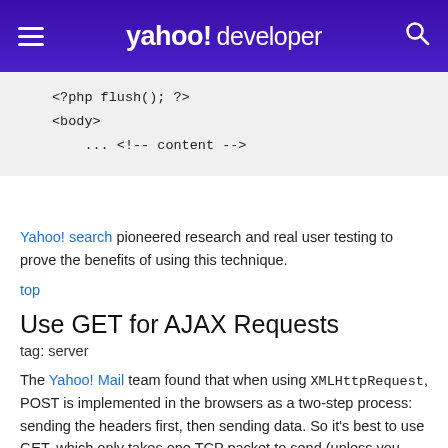yahoo! developer
<?php flush(); ?>
<body>
    ... <!-- content -->
Yahoo! search pioneered research and real user testing to prove the benefits of using this technique.
top
Use GET for AJAX Requests
tag: server
The Yahoo! Mail team found that when using XMLHttpRequest, POST is implemented in the browsers as a two-step process: sending the headers first, then sending data. So it's best to use GET, which only takes one TCP packet to send (unless you have a lot of cookies). The maximum URL length in IE is 2K, so if you